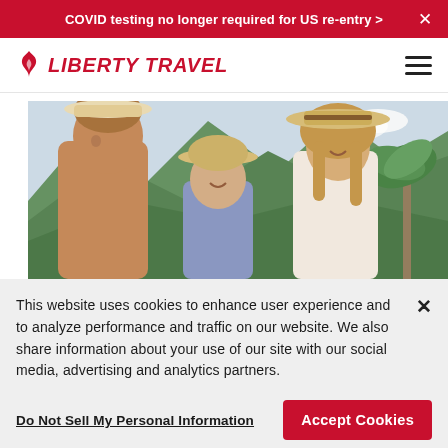COVID testing no longer required for US re-entry >
[Figure (logo): Liberty Travel logo with red flame icon and red italic bold text]
[Figure (photo): Happy family of three — shirtless man, young girl, and woman — wearing straw hats, smiling at each other against a tropical mountain background with palm trees]
This website uses cookies to enhance user experience and to analyze performance and traffic on our website. We also share information about your use of our site with our social media, advertising and analytics partners.
Do Not Sell My Personal Information
Accept Cookies